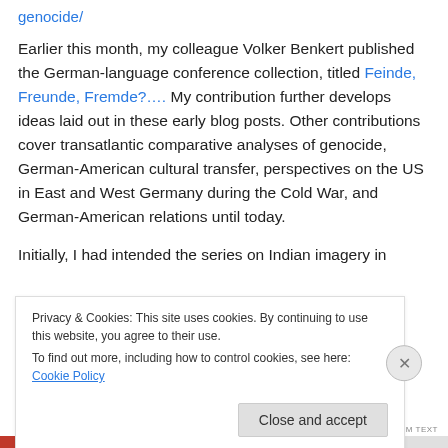genocide/
Earlier this month, my colleague Volker Benkert published the German-language conference collection, titled Feinde, Freunde, Fremde?…. My contribution further develops ideas laid out in these early blog posts. Other contributions cover transatlantic comparative analyses of genocide, German-American cultural transfer, perspectives on the US in East and West Germany during the Cold War, and German-American relations until today.
Initially, I had intended the series on Indian imagery in
Privacy & Cookies: This site uses cookies. By continuing to use this website, you agree to their use.
To find out more, including how to control cookies, see here: Cookie Policy